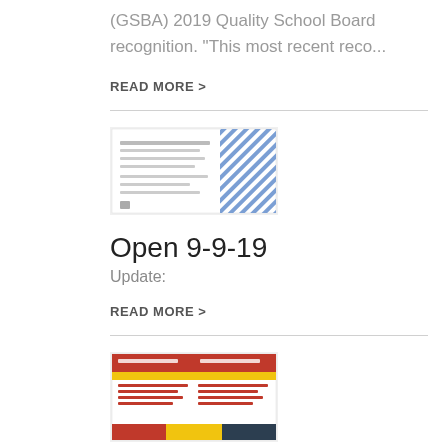(GSBA) 2019 Quality School Board recognition. “This most recent reco...
READ MORE >
[Figure (illustration): Thumbnail image of a flyer about school opening with diagonal blue and white stripes pattern on the right side and text about school return date September 9, 2019.]
Open 9-9-19
Update:
READ MORE >
[Figure (illustration): Thumbnail image of a school flyer with colorful header showing open house dates 2019-2020 with red, yellow and black flag colors.]
Open House Dates 2019-2020